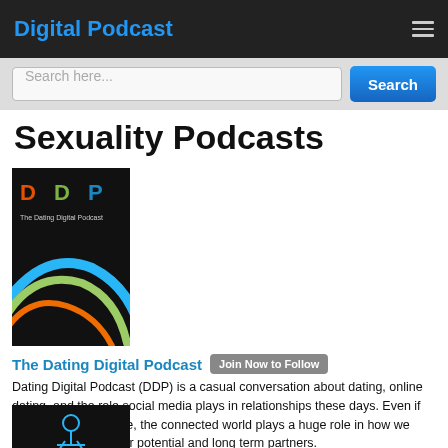Digital Podcast
Search here...
Sexuality Podcasts
[Figure (logo): DDP - The Dating Digital Podcast logo with colorful swirl lines on black background]
The Dating Digital Podcast
Dating Digital Podcast (DDP) is a casual conversation about dating, online dating, and the role social media plays in relationships these days. Even if you didn't meet online, the connected world plays a huge role in how we communicate with our potential and long term partners.
By Joel Duggan
[Figure (photo): Second podcast thumbnail image on dark background with blue figure graphic]